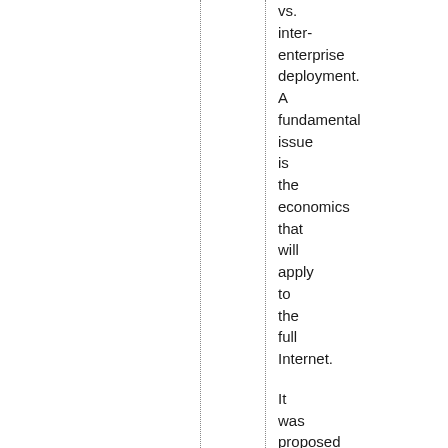vs. inter-enterprise deployment. A fundamental issue is the economics that will apply to the full Internet. It was proposed that the IAB review both